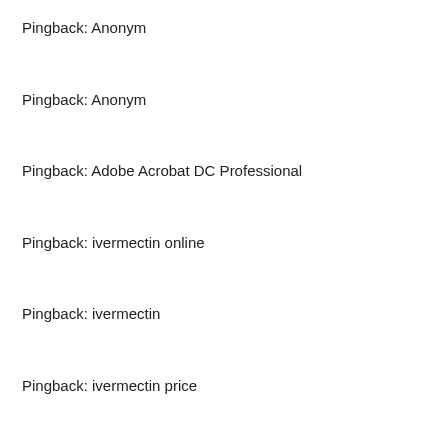Pingback: Anonym
Pingback: Anonym
Pingback: Adobe Acrobat DC Professional
Pingback: ivermectin online
Pingback: ivermectin
Pingback: ivermectin price